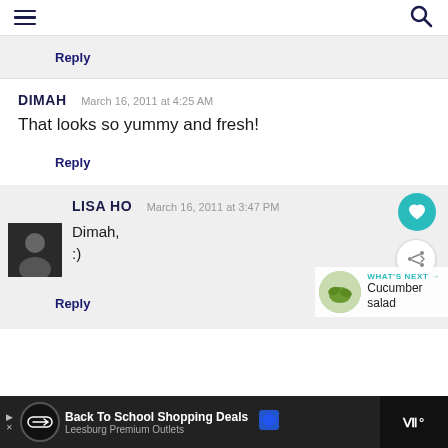Navigation header with hamburger menu and search icon
Reply
DIMAH  March 16, 2011 at 4:25 AM
That looks so yummy and fresh!
Reply
LISA HO  March 16, 2011 at 3:47 PM
Dimah,
:)
Reply
WHAT'S NEXT → Cucumber salad
Back To School Shopping Deals  Leesburg Premium Outlets